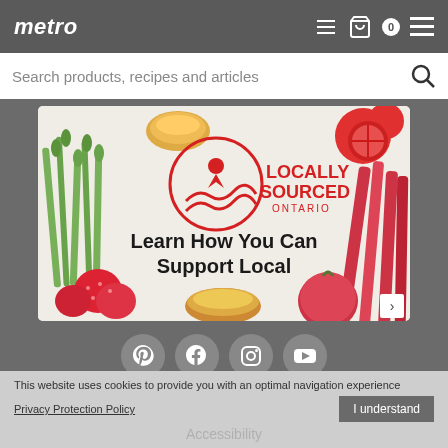metro
Search products, recipes and articles
[Figure (illustration): Locally Sourced Ontario banner with food items (asparagus, tomatoes, strawberries, rhubarb, apple) and text 'Learn How You Can Support Local' with Locally Sourced Ontario logo]
[Figure (other): Social media icons row: Pinterest, Facebook, Instagram, YouTube]
This website uses cookies to provide you with an optimal navigation experience
Privacy Protection Policy
I understand
Accessibility